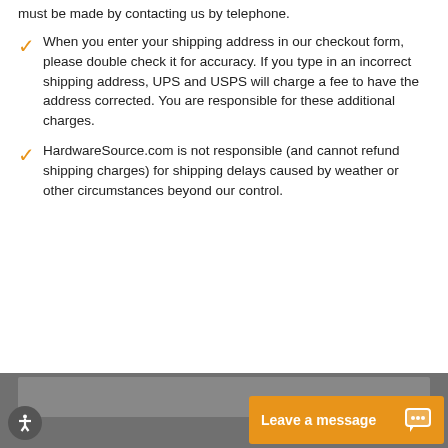must be made by contacting us by telephone.
When you enter your shipping address in our checkout form, please double check it for accuracy. If you type in an incorrect shipping address, UPS and USPS will charge a fee to have the address corrected. You are responsible for these additional charges.
HardwareSource.com is not responsible (and cannot refund shipping charges) for shipping delays caused by weather or other circumstances beyond our control.
Leave a message